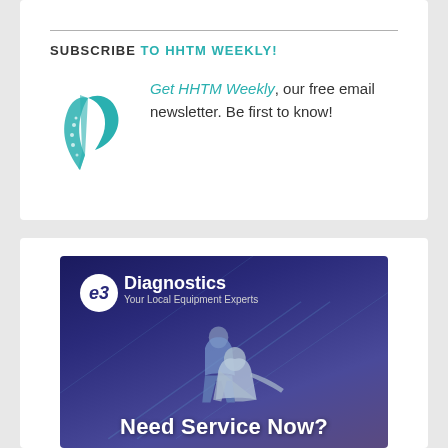SUBSCRIBE TO HHTM WEEKLY!
Get HHTM Weekly, our free email newsletter. Be first to know!
[Figure (logo): HHTM logo - teal stylized letter h with dotted pattern]
[Figure (photo): e3 Diagnostics advertisement banner showing two technicians working on equipment, with text 'e3 Diagnostics - Your Local Equipment Experts' and headline 'Need Service Now?']